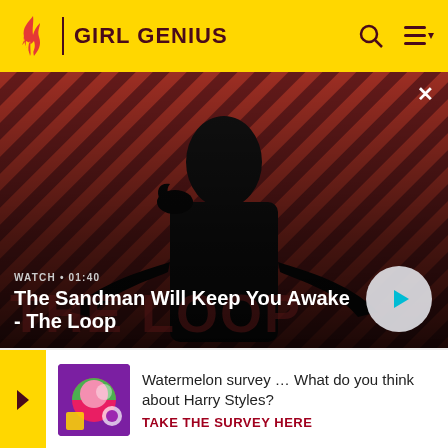GIRL GENIUS
[Figure (screenshot): Hero video thumbnail showing a pale man in black with a raven on his shoulder against a red diagonal striped background. Text overlay: 'WATCH • 01:40' and title 'The Sandman Will Keep You Awake - The Loop'. Play button visible on right.]
The Sandman Will Keep You Awake - The Loop
she has once again missed him; then she produces the Van Rijn notebook. (Agatha's dingbots appear from a secret
Watermelon survey … What do you think about Harry Styles?
TAKE THE SURVEY HERE